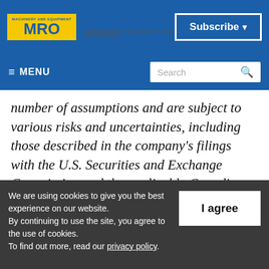MRO - MAINTENANCE, RELIABILITY, AND OPERATIONS | Subscribe
MENU | Search
number of assumptions and are subject to various risks and uncertainties, including those described in the company's filings with the U.S. Securities and Exchange Commission and the applicable Canadian securities regulators, many of which are difficult to predict and generally
We are using cookies to give you the best experience on our website. By continuing to use the site, you agree to the use of cookies. To find out more, read our privacy policy.